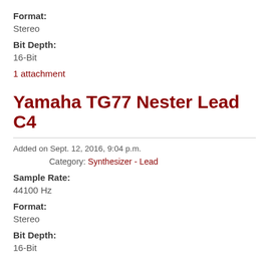Format:
Stereo
Bit Depth:
16-Bit
1 attachment
Yamaha TG77 Nester Lead C4
Added on Sept. 12, 2016, 9:04 p.m.
Category: Synthesizer - Lead
Sample Rate:
44100 Hz
Format:
Stereo
Bit Depth:
16-Bit